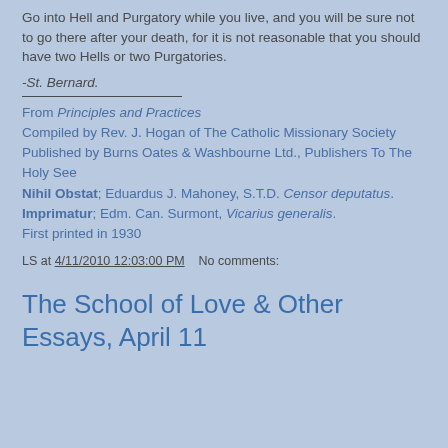Go into Hell and Purgatory while you live, and you will be sure not to go there after your death, for it is not reasonable that you should have two Hells or two Purgatories.
-St. Bernard.
From Principles and Practices
Compiled by Rev. J. Hogan of The Catholic Missionary Society
Published by Burns Oates & Washbourne Ltd., Publishers To The Holy See
Nihil Obstat; Eduardus J. Mahoney, S.T.D. Censor deputatus.
Imprimatur; Edm. Can. Surmont, Vicarius generalis.
First printed in 1930
LS at 4/11/2010 12:03:00 PM    No comments:
The School of Love & Other Essays, April 11